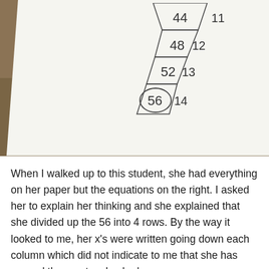[Figure (photo): Photo of a student's paper on a wooden floor showing a pyramid/trapezoid diagram with numbers 44, 48, 52, 56 in rows and 11, 12, 13, 14 beside them. The number 56 at the bottom is circled.]
When I walked up to this student, she had everything on her paper but the equations on the right. I asked her to explain her thinking and she explained that she divided up the 56 into 4 rows. By the way it looked to me, her x's were written going down each column which did not indicate to me that she has passed them out so I asked